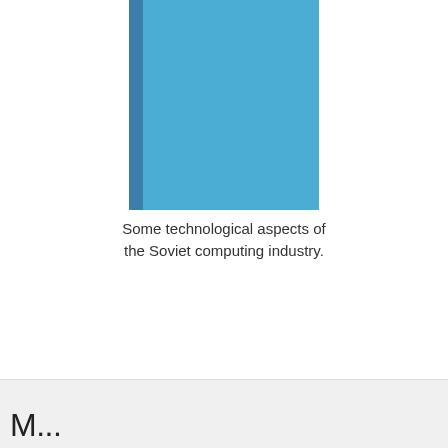[Figure (illustration): A blue hardcover book shown upright with a darker blue spine on the left and a lighter blue face on the right.]
Some technological aspects of the Soviet computing industry.
M...